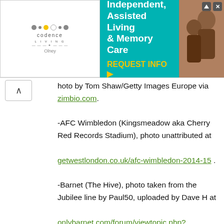[Figure (other): Codence Living advertisement banner: logo on left, teal center panel reading 'Independent, Assisted Living & Memory Care / REQUEST INFO', photo of people on right]
hoto by Tom Shaw/Getty Images Europe via zimbio.com. -AFC Wimbledon (Kingsmeadow aka Cherry Red Records Stadium), photo unattributed at getwestlondon.co.uk/afc-wimbledon-2014-15 . -Barnet (The Hive), photo taken from the Jubilee line by Paul50, uploaded by Dave H at onlybarnet.com/forum/viewtopic.php?